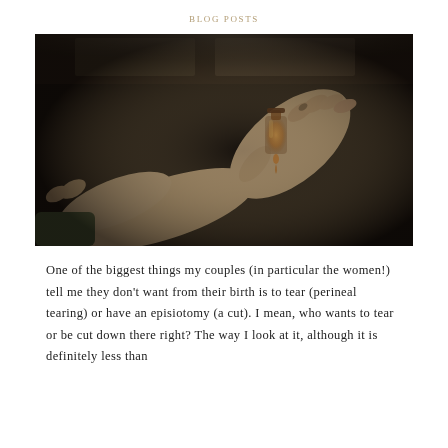BLOG POSTS
[Figure (photo): Two hands holding a small amber essential oil bottle, with a drop falling from the bottle. Dark moody background.]
One of the biggest things my couples (in particular the women!) tell me they don't want from their birth is to tear (perineal tearing) or have an episiotomy (a cut). I mean, who wants to tear or be cut down there right? The way I look at it, although it is definitely less than